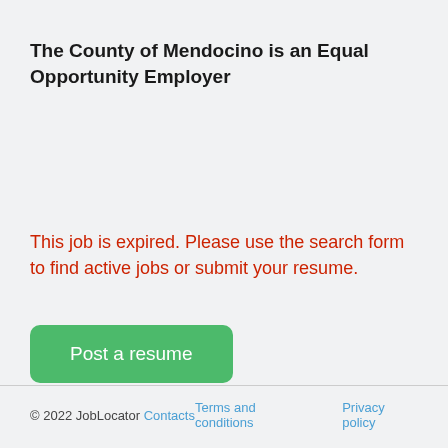The County of Mendocino is an Equal Opportunity Employer
This job is expired. Please use the search form to find active jobs or submit your resume.
[Figure (other): Green rounded button labeled 'Post a resume']
© 2022 JobLocator Contacts   Terms and conditions   Privacy policy